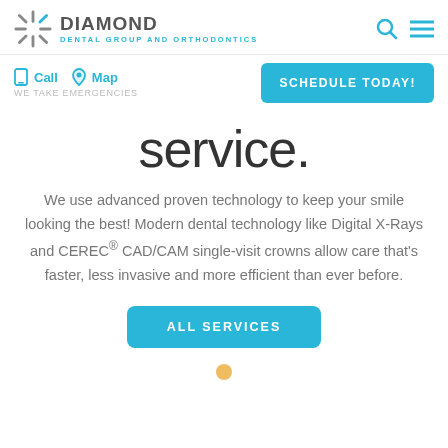[Figure (logo): Diamond Dental Group and Orthodontics logo with starburst icon]
Call  Map  WE TAKE EMERGENCIES
SCHEDULE TODAY!
service.
We use advanced proven technology to keep your smile looking the best! Modern dental technology like Digital X-Rays and CEREC® CAD/CAM single-visit crowns allow care that's faster, less invasive and more efficient than ever before.
ALL SERVICES